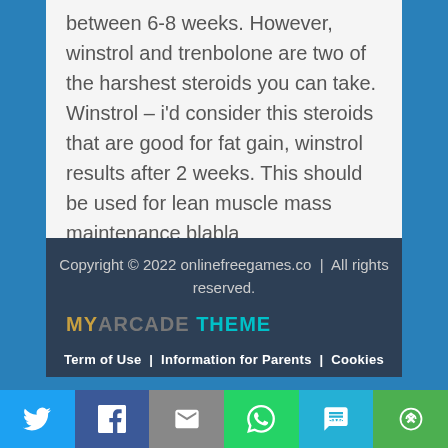between 6-8 weeks. However, winstrol and trenbolone are two of the harshest steroids you can take. Winstrol – i'd consider this steroids that are good for fat gain, winstrol results after 2 weeks. This should be used for lean muscle mass maintenance blabla
Copyright © 2022 onlinefreegames.co | All rights reserved.
MY ARCADE THEME
Term of Use | Information for Parents | Cookies